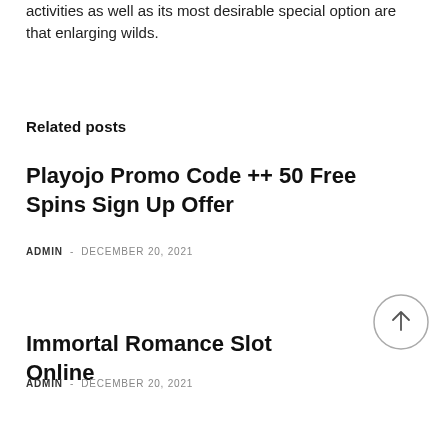activities as well as its most desirable special option are that enlarging wilds.
Related posts
Playojo Promo Code ++ 50 Free Spins Sign Up Offer
ADMIN  -  DECEMBER 20, 2021
Immortal Romance Slot Online
ADMIN  -  DECEMBER 20, 2021
[Figure (other): Scroll to top button — circular arrow-up icon]